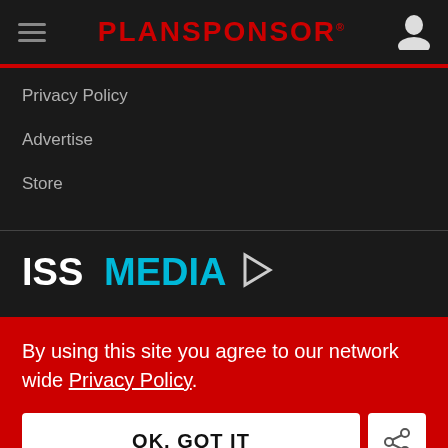PLANSPONSOR
Privacy Policy
Advertise
Store
[Figure (logo): ISS MEDIA logo with arrow icon]
By using this site you agree to our network wide Privacy Policy.
OK, GOT IT